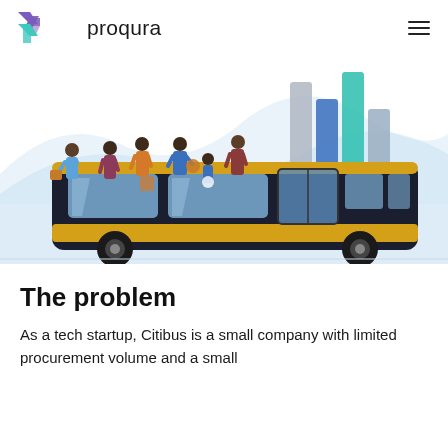proqura
[Figure (illustration): Illustration of people boarding a city bus, with a chart/graph graphic in the background (bar chart and area chart shapes in light blue and teal/blue tones)]
The problem
As a tech startup, Citibus is a small company with limited procurement volume and a small